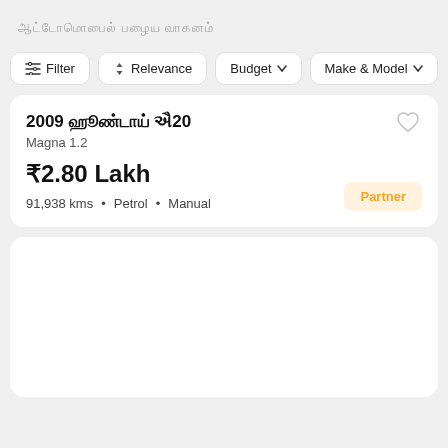ஆட்டோமொபைல் பழைய வாகனம்
Filter | Relevance | Budget | Make & Model
2009 ஹூண்டாய் ஐ20
Magna 1.2
₹2.80 Lakh
91,938 kms • Petrol • Manual
Partner